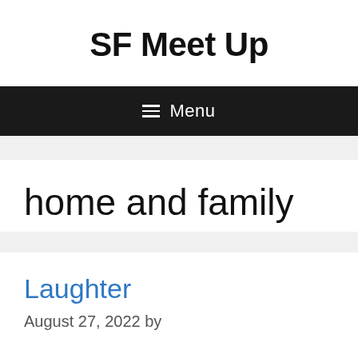SF Meet Up
≡ Menu
home and family
Laughter
August 27, 2022 by